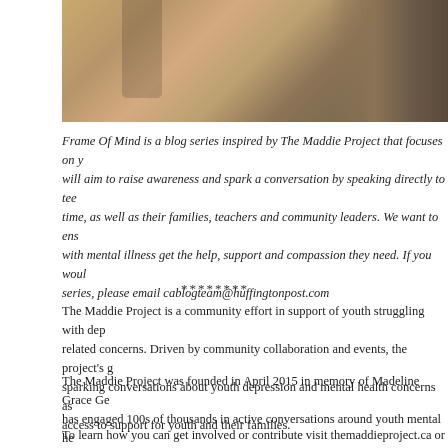[Figure (photo): Outdoor autumn scene with fallen leaves, sandy ground, and a large tree trunk. A person in dark clothing and boots is partially visible.]
Frame Of Mind is a blog series inspired by The Maddie Project that focuses on youth mental health. It will aim to raise awareness and spark a conversation by speaking directly to teens going through a difficult time, as well as their families, teachers and community leaders. We want to ensure that young people struggling with mental illness get the help, support and compassion they need. If you would like to contribute to this series, please email cablogteam@huffingtonpost.com
* * * * * * * *
The Maddie Project is a community effort in support of youth struggling with depression and related concerns. Driven by community collaboration and events, the project's goal is to normalize and sparking conversations about youth depression and mental health concerns as well as improving access to support for youth and their families.
The Maddie Project was founded in April 2015 in memory of Madeline Grace Gereghty. The project has engaged 100s of thousands in active conversations around youth mental health and raised hundreds of dollars in partnership with North York General Hospital Foundation towards the Healing Garden and support of other child and adolescent mental health services at North York General.
To learn how you can get involved or contribute visit themaddieproject.ca or follo